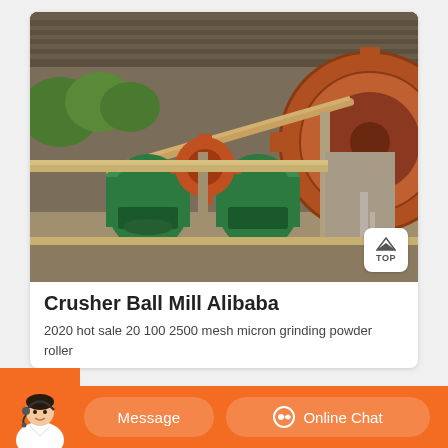[Figure (photo): Photograph of a large industrial Crusher Ball Mill machine in an outdoor/semi-covered facility. The machine features green cylindrical grinding drums, large rust-colored gears and wheels, and metal framework. The setting appears to be a mining or industrial site with a corrugated metal roof overhead.]
Crusher Ball Mill Alibaba
2020 hot sale 20 100 2500 mesh micron grinding powder roller